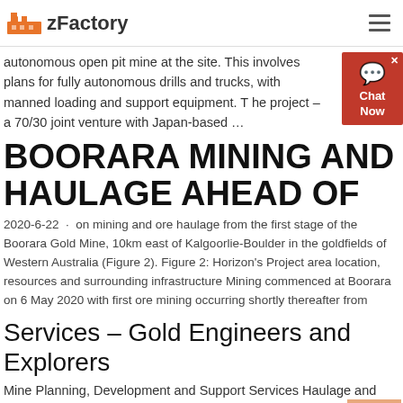zFactory
autonomous open pit mine at the site. This involves plans for fully autonomous drills and trucks, with manned loading and support equipment. T he project – a 70/30 joint venture with Japan-based …
BOORARA MINING AND HAULAGE AHEAD OF
2020-6-22 · on mining and ore haulage from the first stage of the Boorara Gold Mine, 10km east of Kalgoorlie-Boulder in the goldfields of Western Australia (Figure 2). Figure 2: Horizon's Project area location, resources and surrounding infrastructure Mining commenced at Boorara on 6 May 2020 with first ore mining occurring shortly thereafter from
Services – Gold Engineers and Explorers
Mine Planning, Development and Support Services Haulage and Logistics Solutions Services What separates York agency from all other web design